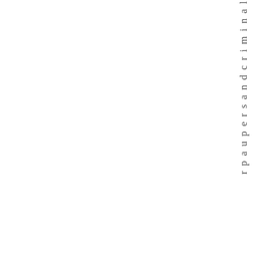r p a u p e r s a n d c r i m i n a l